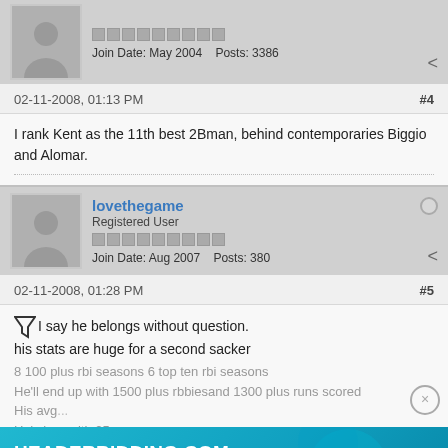Join Date: May 2004    Posts: 3386
02-11-2008, 01:13 PM    #4
I rank Kent as the 11th best 2Bman, behind contemporaries Biggio and Alomar.
lovethegame
Registered User
Join Date: Aug 2007    Posts: 380
02-11-2008, 01:28 PM    #5
I say he belongs without question.
his stats are huge for a second sacker
8 100 plus rbi seasons 6 top ten rbi seasons
He'll end up with 1500 plus rbbiesand 1300 plus runs scored
His avg...
He's be...with 25 runs and...
MVP, 4 time Silver Slugger
On the field he's done his part
[Figure (screenshot): HEADERBIDDING.COM advertisement banner - Your source for all things programmatic advertising.]